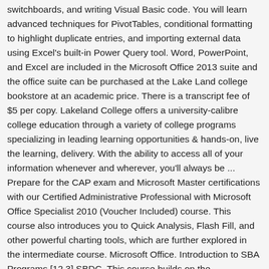switchboards, and writing Visual Basic code. You will learn advanced techniques for PivotTables, conditional formatting to highlight duplicate entries, and importing external data using Excel's built-in Power Query tool. Word, PowerPoint, and Excel are included in the Microsoft Office 2013 suite and the office suite can be purchased at the Lake Land college bookstore at an academic price. There is a transcript fee of $5 per copy. Lakeland College offers a university-calibre college education through a variety of college programs specializing in leading learning opportunities & hands-on, live the learning, delivery. With the ability to access all of your information whenever and wherever, you'll always be ... Prepare for the CAP exam and Microsoft Master certifications with our Certified Administrative Professional with Microsoft Office Specialist 2010 (Voucher Included) course. This course also introduces you to Quick Analysis, Flash Fill, and other powerful charting tools, which are further explored in the intermediate course. Microsoft Office. Introduction to SBA Programs [12.3] SBDC. This course builds on the fundamental techniques you